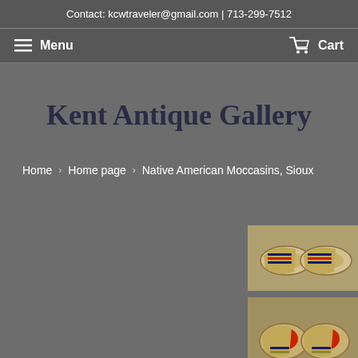Contact: kcwtraveler@gmail.com | 713-299-7512
Menu | Cart
Kent Antique Gallery
Home › Home page › Native American Moccasins, Sioux
[Figure (photo): Top view of Native American Sioux moccasins with beadwork decoration]
[Figure (photo): Front view of Native American Sioux moccasins showing red beadwork]
[Figure (photo): Sole/bottom view of Native American Sioux moccasins]